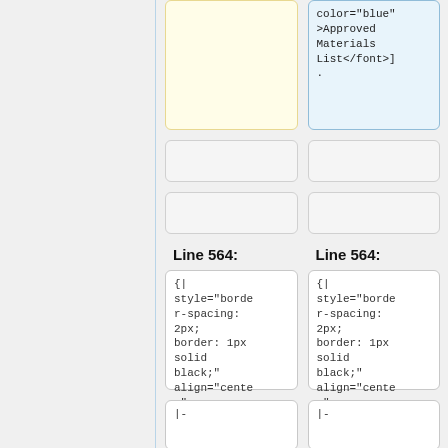color="blue"
>Approved
Materials
List</font>]
.
Line 564:
Line 564:
{|
style="border-spacing:
2px;
border: 1px
solid
black;"
align="center"
{|
style="border-spacing:
2px;
border: 1px
solid
black;"
align="center"
|-
|-